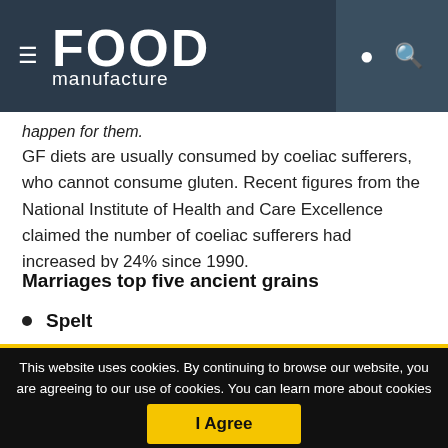FOOD manufacture
happen for them.
GF diets are usually consumed by coeliac sufferers, who cannot consume gluten. Recent figures from the National Institute of Health and Care Excellence claimed the number of coeliac sufferers had increased by 24% since 1990.
Marriages top five ancient grains
Spelt
This website uses cookies. By continuing to browse our website, you are agreeing to our use of cookies. You can learn more about cookies by visiting our privacy & cookies policy page.